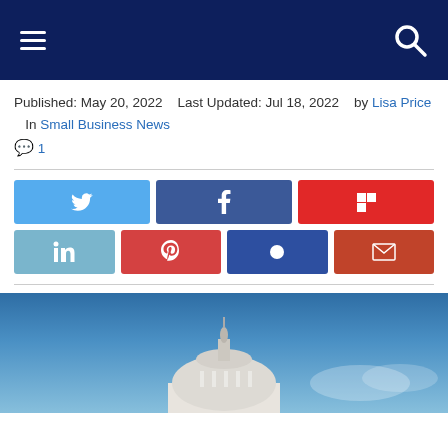Navigation bar with hamburger menu and search icon
Published: May 20, 2022   Last Updated: Jul 18, 2022   by Lisa Price   In Small Business News  💬 1
[Figure (infographic): Social media share buttons: Twitter (blue), Facebook (dark blue), Flipboard (red) in first row; LinkedIn (light blue), Pinterest (red-pink), Pocket (dark blue), Email (dark red-orange) in second row]
[Figure (photo): Photo of the United States Capitol building dome against a blue sky]